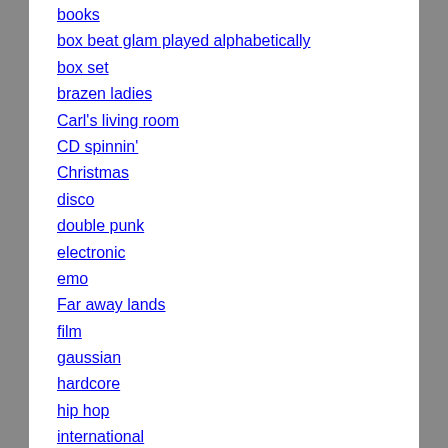books
box beat glam played alphabetically
box set
brazen ladies
Carl's living room
CD spinnin'
Christmas
disco
double punk
electronic
emo
Far away lands
film
gaussian
hardcore
hip hop
international
LP played alphabetically
LP...